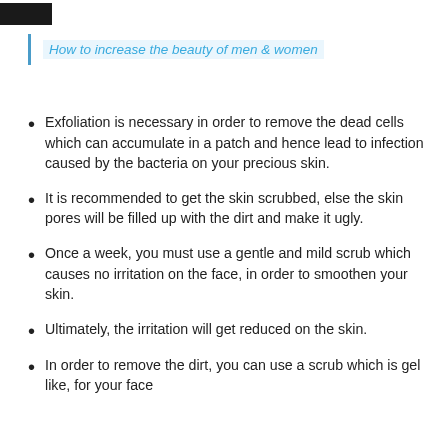How to increase the beauty of men & women
Exfoliation is necessary in order to remove the dead cells which can accumulate in a patch and hence lead to infection caused by the bacteria on your precious skin.
It is recommended to get the skin scrubbed, else the skin pores will be filled up with the dirt and make it ugly.
Once a week, you must use a gentle and mild scrub which causes no irritation on the face, in order to smoothen your skin.
Ultimately, the irritation will get reduced on the skin.
In order to remove the dirt, you can use a scrub which is gel like, for your face